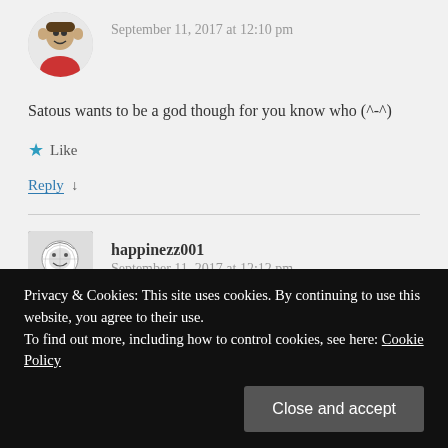September 11, 2017 at 12:10 pm
Satous wants to be a god though for you know who (^-^)
Like
Reply ↓
happinezz001
September 11, 2017 at 12:12 pm
Privacy & Cookies: This site uses cookies. By continuing to use this website, you agree to their use. To find out more, including how to control cookies, see here: Cookie Policy
Close and accept